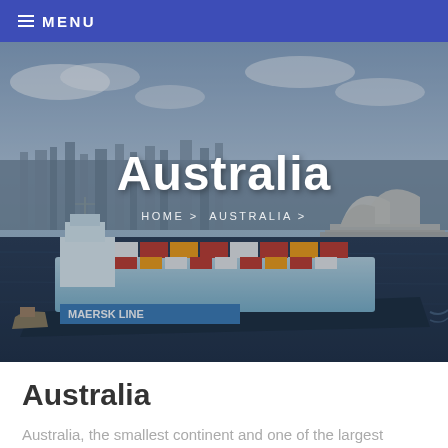≡ MENU
[Figure (photo): Aerial view of Sydney Harbour with a Maersk Line container ship in the foreground and the Sydney Opera House visible on the right. City skyline in the background under a partly cloudy sky.]
Australia
HOME > AUSTRALIA >
Australia
Australia, the smallest continent and one of the largest